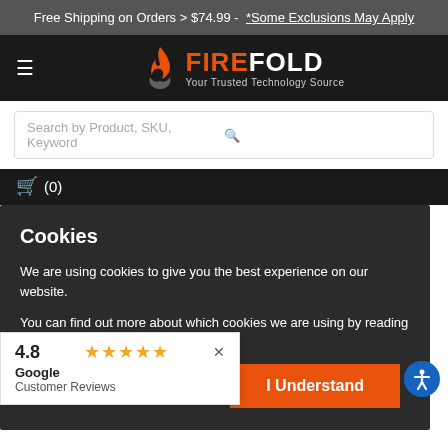Free Shipping on Orders > $74.99 -  *Some Exclusions May Apply
[Figure (logo): FireFold logo with flame graphic and tagline 'Your Trusted Technology Source']
Search by Product, SKU, Keyword
(0)
$19.54
USB-C to DVI Adapter - Type C USB Male to DVI Female
$4.78
Cookies
We are using cookies to give you the best experience on our website.
You can find out more about which cookies we are using by reading our Privacy Policy
I Understand
4.8 ★★★★★
Google Customer Reviews